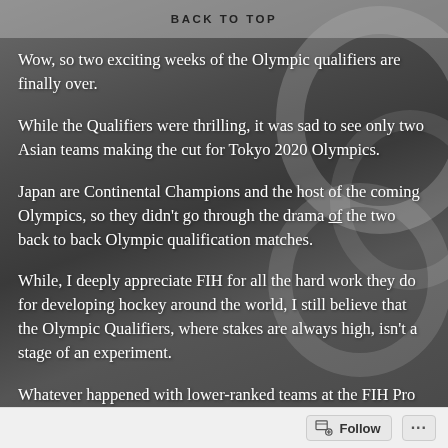BACK TO TOP
Wow, so two exciting weeks of the Olympic qualifiers are finally over.
While the Qualifiers were thrilling, it was sad to see only two Asian teams making the cut for Tokyo 2020 Olympics.
Japan are Continental Champions and the host of the coming Olympics, so they didn't go through the drama of the two back to back Olympic qualification matches.
While, I deeply appreciate FIH for all the hard work they do for developing hockey around the world, I still believe that the Olympic Qualifiers, where stakes are always high, isn't a stage of an experiment.
Whatever happened with lower-ranked teams at the FIH Pro
Follow ...